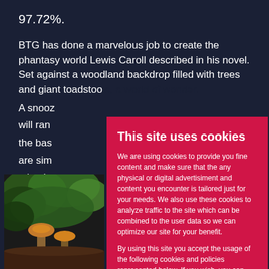97.72%.
BTG has done a marvelous job to create the phantasy world Lewis Caroll described in his novel. Set against a woodland backdrop filled with trees and giant toadstools... A snooz... will ran... the bas... are sim... mixed w... fanfares...
[Figure (photo): Green foliage and orange/brown mushrooms or fungi at the bottom left of the page]
This site uses cookies
We are using cookies to provide you fine content and make sure that the any physical or digital advertisiment and content you encounter is tailored just for your needs. We also use these cookies to analyze traffic to the site which can be combined to the user data so we can optimize our site for your benefit.
By using this site you accept the usage of the following cookies and policies represented below. If you wish, you can see make changes and see the cookie policy from below.
Cookies OK, save settings
Click here show the details